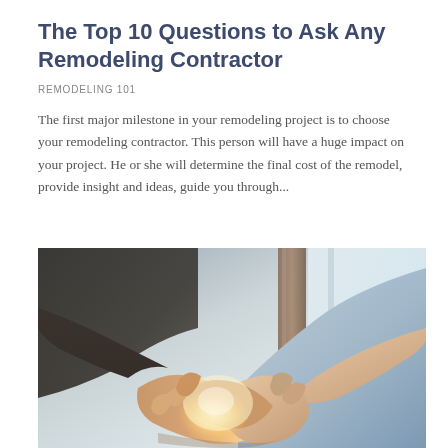The Top 10 Questions to Ask Any Remodeling Contractor
REMODELING 101
The first major milestone in your remodeling project is to choose your remodeling contractor. This person will have a huge impact on your project. He or she will determine the final cost of the remodel, provide insight and ideas, guide you through...
[Figure (photo): Two people shaking hands in a close-up photograph, with warm backlight creating a glowing effect between their clasped hands. One person appears to be wearing a dark suit jacket, the other a light blue shirt. Background is softly lit and blurred.]